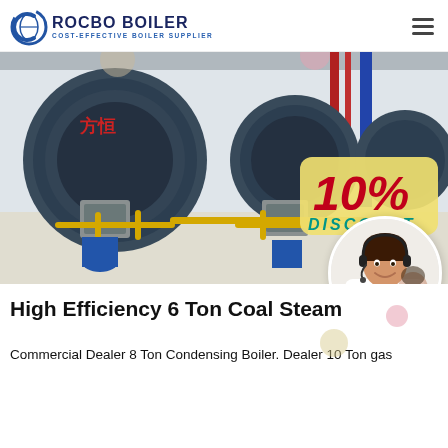[Figure (logo): Rocbo Boiler logo with circular icon and text 'ROCBO BOILER - COST-EFFECTIVE BOILER SUPPLIER']
[Figure (photo): Industrial boiler room with large blue cylindrical gas boilers, yellow piping, red pipes, and a 10% DISCOUNT badge overlay. A customer support representative in a circular bubble at bottom right.]
High Efficiency 6 Ton Coal Steam
Commercial Dealer 8 Ton Condensing Boiler. Dealer 10 Ton gas